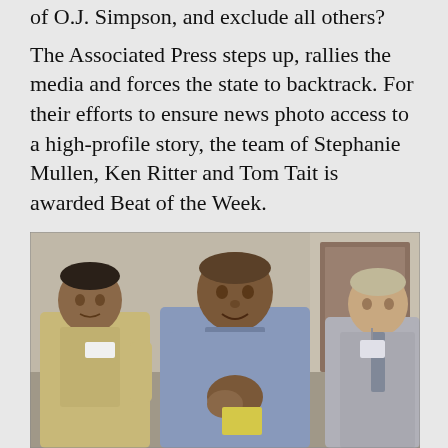of O.J. Simpson, and exclude all others?
The Associated Press steps up, rallies the media and forces the state to backtrack. For their efforts to ensure news photo access to a high-profile story, the team of Stephanie Mullen, Ken Ritter and Tom Tait is awarded Beat of the Week.
[Figure (photo): Photo of O.J. Simpson in a blue shirt flanked by two men, one in a tan uniform on the left and one in a suit on the right, in what appears to be a hearing room.]